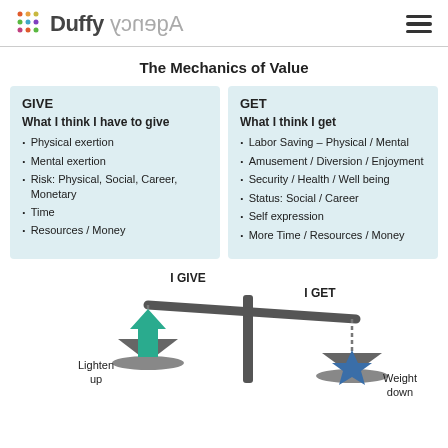Duffy Agency
The Mechanics of Value
GIVE
What I think I have to give
· Physical exertion
· Mental exertion
· Risk: Physical, Social, Career, Monetary
· Time
· Resources / Money
GET
What I think I get
· Labor Saving – Physical / Mental
· Amusement / Diversion / Enjoyment
· Security / Health / Well being
· Status: Social / Career
· Self expression
· More Time / Resources / Money
[Figure (illustration): Balance scale diagram showing 'I GIVE' on the left side with an upward teal arrow (labeled 'Lighten up') and 'I GET' on the right side with a blue star/weight (labeled 'Weight down')]